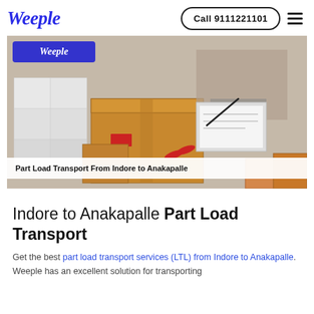[Figure (logo): Weeple logo in blue italic serif font]
Call 9111221101
[Figure (photo): Photo of cardboard boxes and packages with a person signing documents, with Weeple badge overlay and caption bar reading 'Part Load Transport From Indore to Anakapalle']
Indore to Anakapalle Part Load Transport
Get the best part load transport services (LTL) from Indore to Anakapalle. Weeple has an excellent solution for transporting